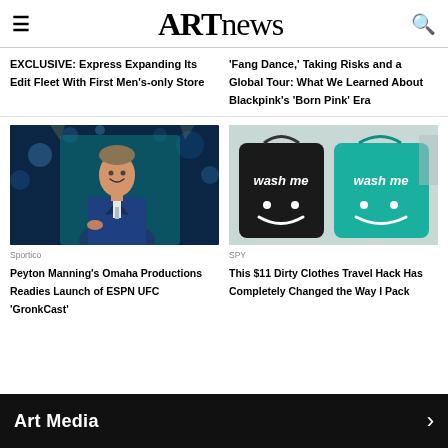ARTnews
EXCLUSIVE: Express Expanding Its Edit Fleet With First Men's-only Store
'Fang Dance,' Taking Risks and a Global Tour: What We Learned About Blackpink's 'Born Pink' Era
[Figure (photo): Person in blue suit speaking on stage with teal background]
Sportico
Peyton Manning's Omaha Productions Readies Launch of ESPN UFC 'GronkCast'
[Figure (photo): Two laundry bags (black and teal) with 'wash me' text and smiley faces]
SPY
This $11 Dirty Clothes Travel Hack Has Completely Changed the Way I Pack
Art Media